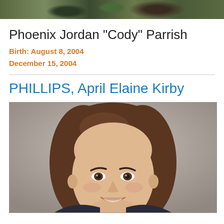[Figure (photo): Top portion of a decorative nature photo, showing foliage/plant textures in dark greens and browns]
Phoenix Jordan "Cody" Parrish
Birth: August 8, 2004
December 15, 2004
PHILLIPS, April Elaine Kirby
[Figure (photo): Portrait photo of a young woman with long brown hair, smiling, against a grey background]